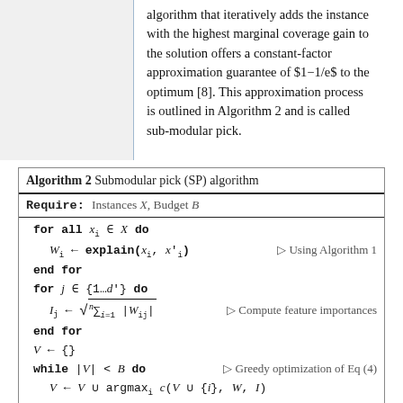algorithm that iteratively adds the instance with the highest marginal coverage gain to the solution offers a constant-factor approximation guarantee of $1−1/e$ to the optimum [8]. This approximation process is outlined in Algorithm 2 and is called sub-modular pick.
[Figure (other): Algorithm 2 box: Submodular pick (SP) algorithm pseudocode. Require: Instances X, Budget B. for all x_i in X do: W_i <- explain(x_i, x'_i) [Using Algorithm 1]. end for. for j in {1...d'} do: I_j <- sqrt(sum_{i=1}^{n} |W_{ij}|) [Compute feature importances]. end for. V <- {}. while |V| < B do [Greedy optimization of Eq (4)]: V <- V union argmax_i c(V union {i}, W, I). end while. return V]